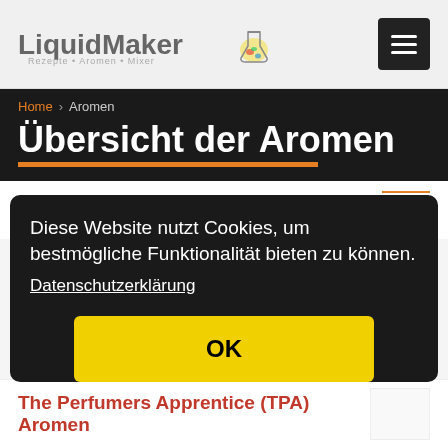LiquidMaker
Home > Aromen
Übersicht der Aromen
suchen...
Diese Website nutzt Cookies, um bestmögliche Funktionalität bieten zu können.
Datenschutzerklärung
OK
★ Aromen
The Perfumers Apprentice (TPA) Aromen